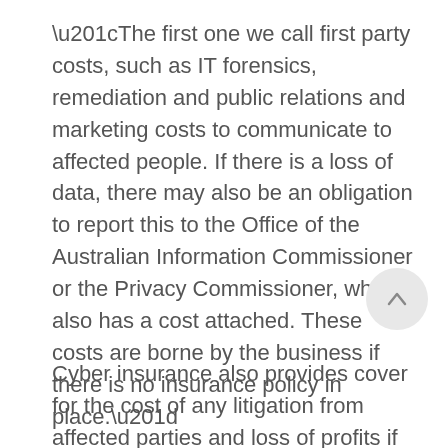“The first one we call first party costs, such as IT forensics, remediation and public relations and marketing costs to communicate to affected people. If there is a loss of data, there may also be an obligation to report this to the Office of the Australian Information Commissioner or the Privacy Commissioner, which also has a cost attached. These costs are borne by the business if there is no insurance policy in place.”
Cyber insurance also provides cover for the cost of any litigation from affected parties and loss of profits if your business experiences a cyber breach